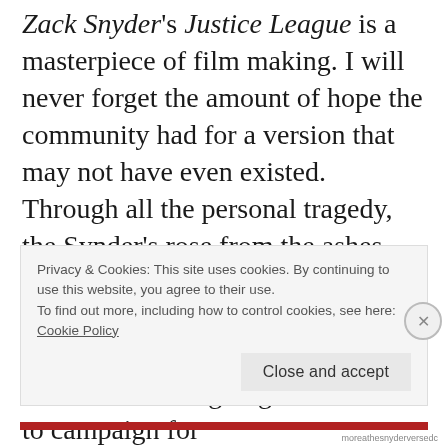Zack Snyder's Justice League is a masterpiece of film making. I will never forget the amount of hope the community had for a version that may not have even existed. Through all the personal tragedy, the Synder's rose from the ashes and finished what they set out to do. All I can say is Warner Brothers is in a pretty deep hole now. If they think fans aren't going to continue to campaign for #RestoretheSnyderverse, they have another thing coming to them. I, for one,
Privacy & Cookies: This site uses cookies. By continuing to use this website, you agree to their use.
To find out more, including how to control cookies, see here: Cookie Policy
Close and accept